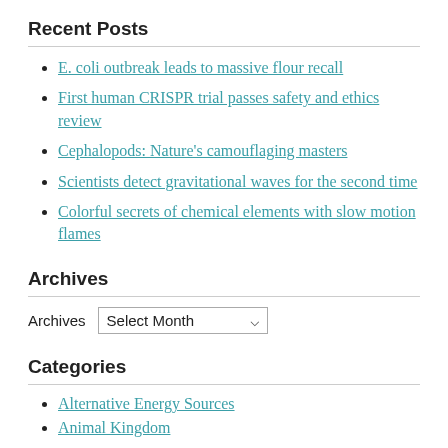Recent Posts
E. coli outbreak leads to massive flour recall
First human CRISPR trial passes safety and ethics review
Cephalopods: Nature's camouflaging masters
Scientists detect gravitational waves for the second time
Colorful secrets of chemical elements with slow motion flames
Archives
Archives  Select Month
Categories
Alternative Energy Sources
Animal Kingdom